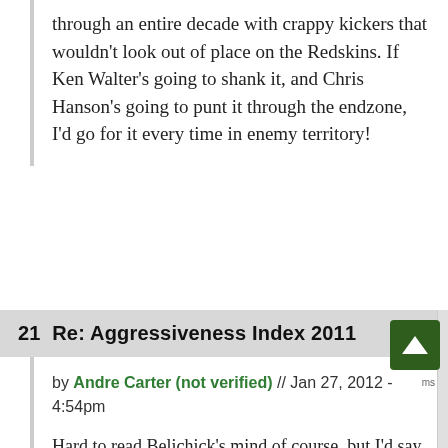through an entire decade with crappy kickers that wouldn't look out of place on the Redskins. If Ken Walter's going to shank it, and Chris Hanson's going to punt it through the endzone, I'd go for it every time in enemy territory!
21  Re: Aggressiveness Index 2011
by Andre Carter (not verified) // Jan 27, 2012 - 4:54pm
Hard to read Belichick's mind of course, but I'd say if he's haunted by any 4th down call at a was going for it on 4th and 13 early in the FIRST Pats-Giants Super Bowl, rather than going for a 50-yard field goal. That 4th and 2 in Indianapolis was the right call and, as the NFL documentary